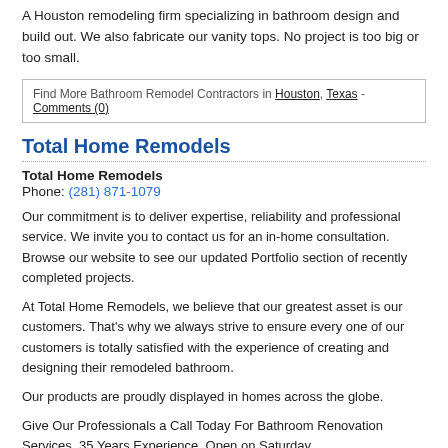A Houston remodeling firm specializing in bathroom design and build out. We also fabricate our vanity tops. No project is too big or too small.
Find More Bathroom Remodel Contractors in Houston, Texas - Comments (0)
Total Home Remodels
Total Home Remodels
Phone: (281) 871-1079
Our commitment is to deliver expertise, reliability and professional service. We invite you to contact us for an in-home consultation. Browse our website to see our updated Portfolio section of recently completed projects.
At Total Home Remodels, we believe that our greatest asset is our customers. That's why we always strive to ensure every one of our customers is totally satisfied with the experience of creating and designing their remodeled bathroom.
Our products are proudly displayed in homes across the globe.
Give Our Professionals a Call Today For Bathroom Renovation Services. 35 Years Experience, Open on Saturday.